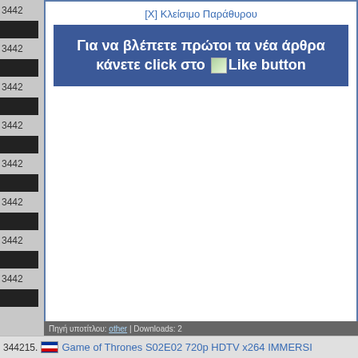[X] Κλείσιμο Παράθυρου
Για να βλέπετε πρώτοι τα νέα άρθρα κάνετε click στο Like button
Πηγή υποτίτλου: other | Downloads: 2
344215. Game of Thrones S02E02 720p HDTV x264 IMMERSI